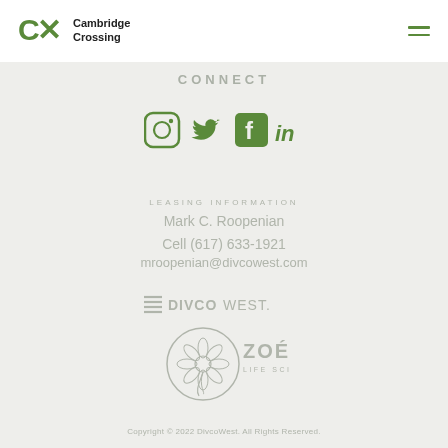Cambridge Crossing (CX logo)
CONNECT
[Figure (illustration): Social media icons: Instagram, Twitter, Facebook, LinkedIn — all in green]
LEASING INFORMATION
Mark C. Roopenian
Cell (617) 633-1921
mroopenian@divcowest.com
[Figure (logo): DIVCOWEST. logo with stacked lines icon]
[Figure (logo): ZOE Life Sciences circular logo with floral/leaf emblem]
Copyright © 2022 DivcoWest. All Rights Reserved.